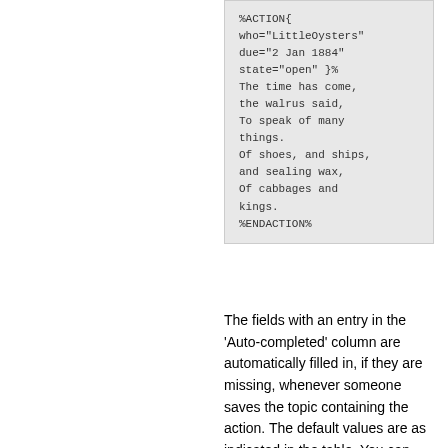[Figure (screenshot): Code block showing a %ACTION% macro with parameters who='LittleOysters', due='2 Jan 1884', state='open', followed by poem text and %ENDACTION% closing tag]
The fields with an entry in the 'Auto-completed' column are automatically filled in, if they are missing, whenever someone saves the topic containing the action. The default values are as indicated in the table. You can